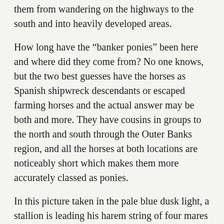them from wandering on the highways to the south and into heavily developed areas.
How long have the “banker ponies” been here and where did they come from? No one knows, but the two best guesses have the horses as Spanish shipwreck descendants or escaped farming horses and the actual answer may be both and more. They have cousins in groups to the north and south through the Outer Banks region, and all the horses at both locations are noticeably short which makes them more accurately classed as ponies.
In this picture taken in the pale blue dusk light, a stallion is leading his harem string of four mares along the wet edge of the waves and threads between the tidal pools left by the low tide. He looks back to see if the mares are forming up their natural string after it was disrupted. If the string is broken up, it isn’t long until they reform as they are here